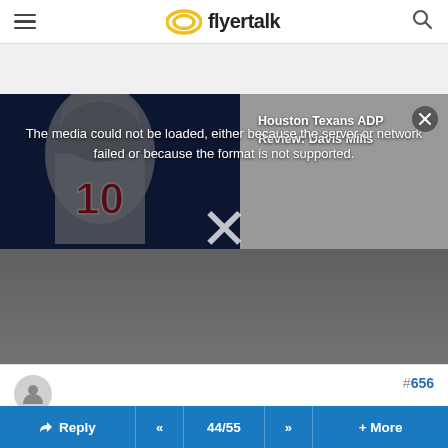flyertalk
[Figure (screenshot): FlyerTalk mobile website screenshot showing a video player with error message 'The media could not be loaded, either because the server or network failed or because the format is not supported.' overlaid on a Houston Texans NFL player wearing jersey #10. A video ad overlay shows 'Houston Texans ADP Review: Davis Mills' text. A large X close button is visible in the center. Below is a gray video controls area.]
The media could not be loaded, either because the server or network failed or because the format is not supported.
Houston Texans ADP Review: Davis Mills
#656
cawhite , Jan 15, 06 11:29 pm
Reply  <<  44/55  >>  + More